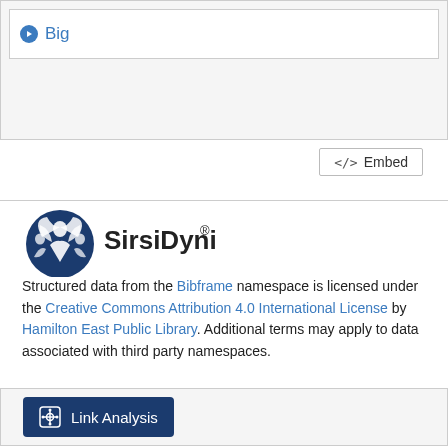Big
</> Embed
[Figure (logo): SirsiDynix logo with icon and wordmark]
Structured data from the Bibframe namespace is licensed under the Creative Commons Attribution 4.0 International License by Hamilton East Public Library. Additional terms may apply to data associated with third party namespaces.
Link Analysis